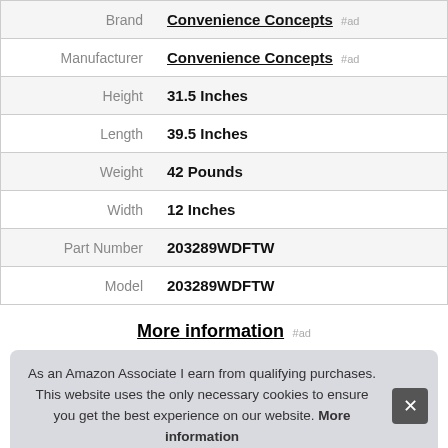| Label | Value |
| --- | --- |
| Brand | Convenience Concepts #ad |
| Manufacturer | Convenience Concepts #ad |
| Height | 31.5 Inches |
| Length | 39.5 Inches |
| Weight | 42 Pounds |
| Width | 12 Inches |
| Part Number | 203289WDFTW |
| Model | 203289WDFTW |
More information #ad
As an Amazon Associate I earn from qualifying purchases. This website uses the only necessary cookies to ensure you get the best experience on our website. More information
Tags